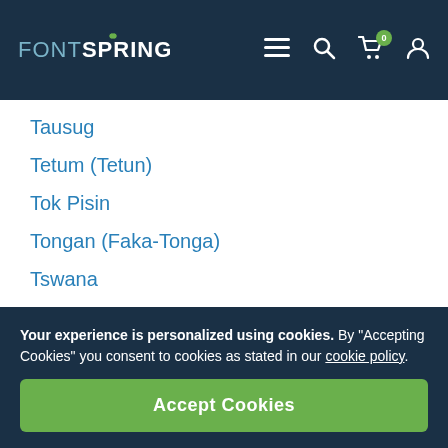FONTSPRING
Tausug
Tetum (Tetun)
Tok Pisin
Tongan (Faka-Tonga)
Tswana
Turkish
Turkmen
Turkmen (Latinized)
Tuvaluan
Uyghur (Latinized)
Veps
Volapük
Your experience is personalized using cookies. By "Accepting Cookies" you consent to cookies as stated in our cookie policy.
Accept Cookies